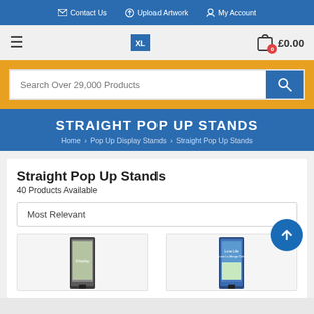Contact Us  Upload Artwork  My Account
[Figure (screenshot): Navigation bar with hamburger menu, XL Displays logo, and cart showing £0.00]
[Figure (screenshot): Search bar with placeholder text 'Search Over 29,000 Products' and blue search button]
STRAIGHT POP UP STANDS
Home > Pop Up Display Stands > Straight Pop Up Stands
Straight Pop Up Stands
40 Products Available
Most Relevant
[Figure (photo): Two partial product images of straight pop up stands at the bottom of the page]